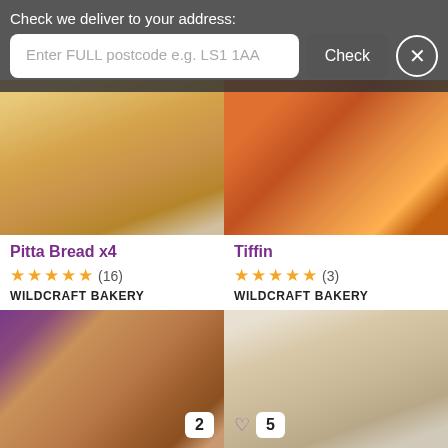Check we deliver to your address:
Enter FULL postcode e.g. LS1 1AA
Check
[Figure (photo): Pitta bread product photo - golden baked flat bread]
Pitta Bread x4
★★★★★ (16)
WILDCRAFT BAKERY
£4.99
[Figure (photo): Tiffin product photo - colorful baked goods]
Tiffin
★★★★★ (3)
WILDCRAFT BAKERY
£2.65
[Figure (photo): Cookie product photo - large chocolate chip cookie on purple background, numbered 2]
[Figure (photo): Scones product photo - dusted scones on light background, numbered 5]